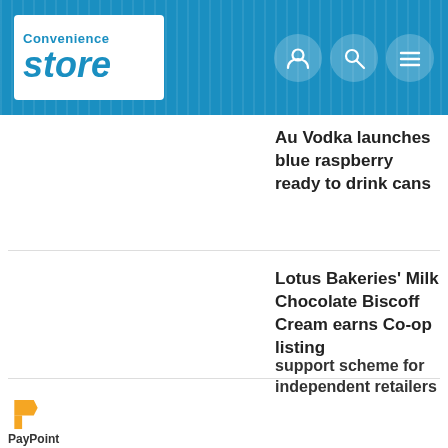Convenience Store
Au Vodka launches blue raspberry ready to drink cans
Lotus Bakeries' Milk Chocolate Biscoff Cream earns Co-op listing
This website uses cookies. By continuing to browse our website, you are agreeing to our use of cookies. You can learn more about cookies by visiting our privacy & cookies policy page.
OK
support scheme for independent retailers
[Figure (logo): PayPoint logo - yellow P shape with PayPoint text below]